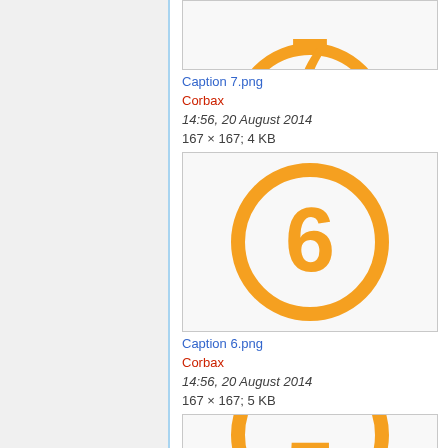[Figure (illustration): Partial orange circle with number 7 on light background, cropped at top]
Caption 7.png
Corbax
14:56, 20 August 2014
167 × 167; 4 KB
[Figure (illustration): Orange circle outline with number 6 in orange on white/light background]
Caption 6.png
Corbax
14:56, 20 August 2014
167 × 167; 5 KB
[Figure (illustration): Partial orange circle with number 5 visible, cropped at bottom of page]